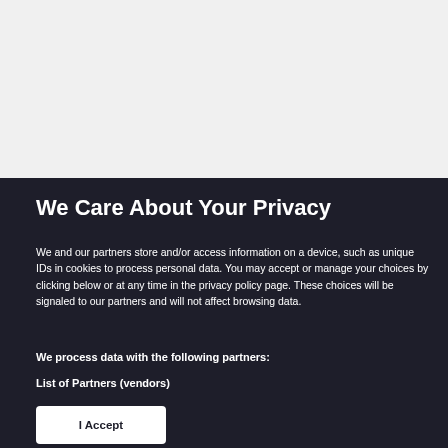We Care About Your Privacy
We and our partners store and/or access information on a device, such as unique IDs in cookies to process personal data. You may accept or manage your choices by clicking below or at any time in the privacy policy page. These choices will be signaled to our partners and will not affect browsing data.
We process data with the following partners:
List of Partners (vendors)
I Accept